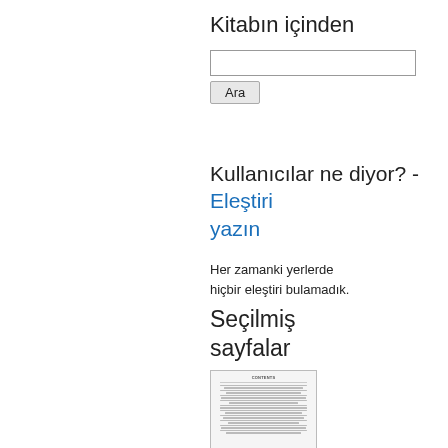Kitabın içinden
[Figure (screenshot): Search box with text input field and 'Ara' button]
Kullanıcılar ne diyor? - Eleştiri yazın
Her zamanki yerlerde hiçbir eleştiri bulamadık.
Seçilmiş sayfalar
[Figure (screenshot): Thumbnail of a book page showing text content]